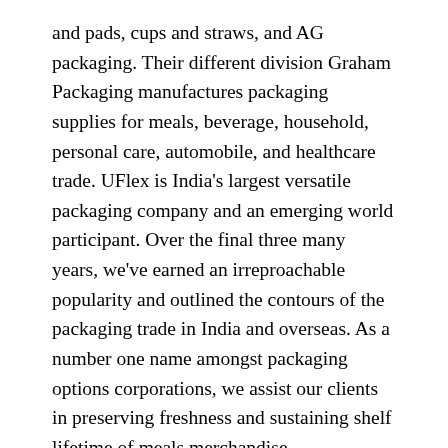and pads, cups and straws, and AG packaging. Their different division Graham Packaging manufactures packaging supplies for meals, beverage, household, personal care, automobile, and healthcare trade. UFlex is India's largest versatile packaging company and an emerging world participant. Over the final three many years, we've earned an irreproachable popularity and outlined the contours of the packaging trade in India and overseas. As a number one name amongst packaging options corporations, we assist our clients in preserving freshness and sustaining shelf lifetime of meals merchandise.
Alpla is an Austrian-based world manufacturer of packaging solutions for the meals, beverage, pharmaceutical, and home & beauty care market. The company operates in 45 international